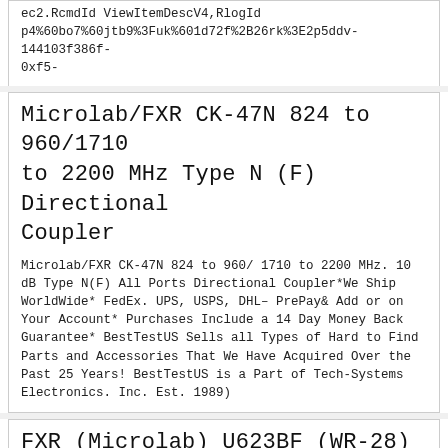ec2.RcmdId ViewItemDescV4,RlogId p4%60bo7%60jtb9%3Fuk%601d72f%2B26rk%3E2p5ddv-144103f386f-0xf5-
Microlab/FXR CK-47N 824 to 960/1710 to 2200 MHz Type N (F) Directional Coupler
Microlab/FXR CK-47N 824 to 960/ 1710 to 2200 MHz. 10 dB Type N(F) All Ports Directional Coupler*We Ship WorldWide* FedEx. UPS, USPS, DHL– PrePay& Add or on Your Account* Purchases Include a 14 Day Money Back Guarantee* BestTestUS Sells all Types of Hard to Find Parts and Accessories That We Have Acquired Over the Past 25 Years! BestTestUS is a Part of Tech-Systems Electronics. Inc. Est. 1989)
FXR (Microlab) U623BF (WR-28) 26.5 to 40.0 GHz, Cover to Cover Waveguide Flange
FXR(Microlab) U623BF(WR-28) 26.5 to 40.0 GHz Cover to Cover Flange 90° Waveguide E-Bend*We Ship WorldWide* FedEx. UPS, USPS, DHL– PrePay& Add or on Your Account* Purchases Include a 14 Day Money Back Guarantee* BestTestUS Sells all Types of Hard to Find Parts and Accessories That We Have Acquired Over the Past 25 Years! BestTestUS is a Part of Tech-Systems Electronics. Inc. Est. 1989) ec2.RcmdId ViewItemDescV4,RlogId p4%60bo7%60jtb9%3Fvo%7B%3Dd70f%2B%3Eec2-145d5454752-0x19a-